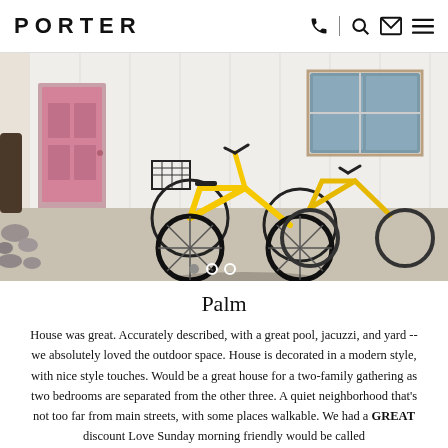PORTER
[Figure (photo): Two yellow bicycles with baskets parked outside a white building with a pink door and rocks/landscaping visible on the left side]
Palm
House was great. Accurately described, with a great pool, jacuzzi, and yard -- we absolutely loved the outdoor space. House is decorated in a modern style, with nice style touches. Would be a great house for a two-family gathering as two bedrooms are separated from the other three. A quiet neighborhood that's not too far from main streets, with some places walkable. We had a GREAT discount Love Sunday morning friendly would be called